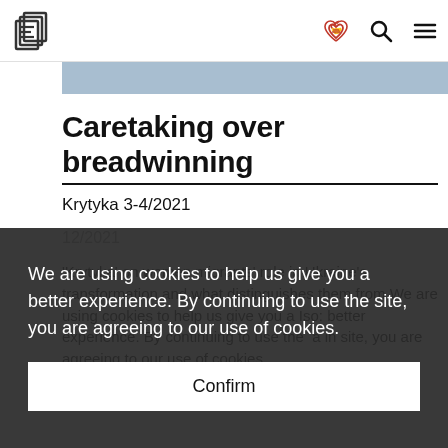Eurozine logo, heart/handshake icon, search icon, menu icon
Caretaking over breadwinning
Krytyka 3-4/2021
12/2021
'Krytyka' on women migrants' role in Ukraine's transformation and what distinguishes them from [men]. Also: [women migrants'] typica in
We are using cookies to help us give you a better experience. By continuing to use the site, you are agreeing to our use of cookies.
Confirm